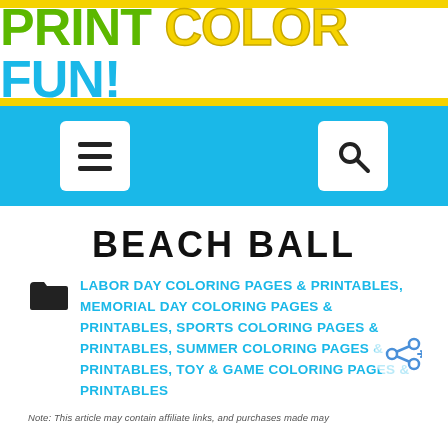PRINT COLOR FUN!
[Figure (screenshot): Navigation bar with hamburger menu icon and search icon on blue background]
BEACH BALL
LABOR DAY COLORING PAGES & PRINTABLES, MEMORIAL DAY COLORING PAGES & PRINTABLES, SPORTS COLORING PAGES & PRINTABLES, SUMMER COLORING PAGES & PRINTABLES, TOY & GAME COLORING PAGES & PRINTABLES
Note: This article may contain affiliate links, and purchases made may